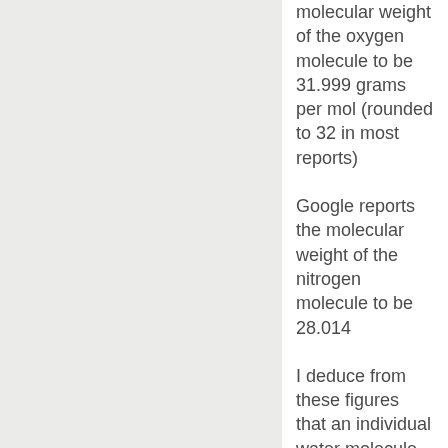molecular weight of the oxygen molecule to be 31.999 grams per mol (rounded to 32 in most reports)
Google reports the molecular weight of the nitrogen molecule to be 28.014
I deduce from these figures that an individual water molecule will